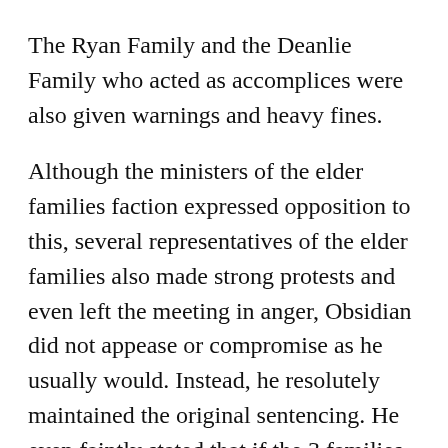The Ryan Family and the Deanlie Family who acted as accomplices were also given warnings and heavy fines.
Although the ministers of the elder families faction expressed opposition to this, several representatives of the elder families also made strong protests and even left the meeting in anger, Obsidian did not appease or compromise as he usually would. Instead, he resolutely maintained the original sentencing. He even faintly stated that if the 3 families refused to accept this punishment, it would be enforced by force.
Many ministers and family representatives turned their gazes on the quiet “Charles” next to Obsidian. They didn’t know what method he used to get the regent Royal Highness to act on the elder families so decisively. In any